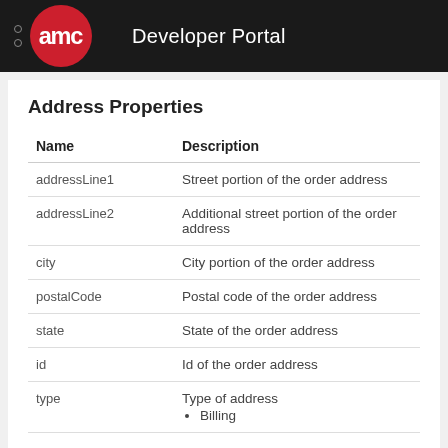AMC Developer Portal
Address Properties
| Name | Description |
| --- | --- |
| addressLine1 | Street portion of the order address |
| addressLine2 | Additional street portion of the order address |
| city | City portion of the order address |
| postalCode | Postal code of the order address |
| state | State of the order address |
| id | Id of the order address |
| type | Type of address
• Billing |